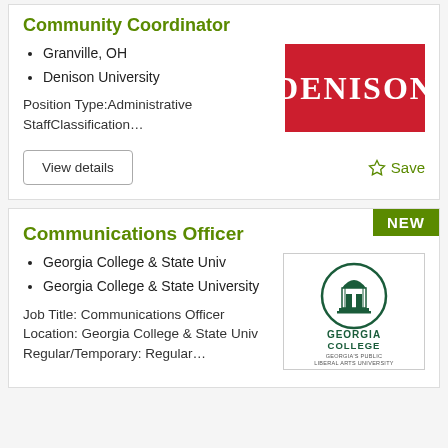Community Coordinator
Granville, OH
Denison University
Position Type:Administrative StaffClassification…
[Figure (logo): Denison University logo — red rectangle with white serif text reading DENISON]
View details
Save
Communications Officer
Georgia College & State Univ
Georgia College & State University
Job Title: Communications Officer Location: Georgia College & State Univ Regular/Temporary: Regular…
[Figure (logo): Georgia College & State University logo — green circular building icon above text GEORGIA COLLEGE GEORGIA'S PUBLIC LIBERAL ARTS UNIVERSITY]